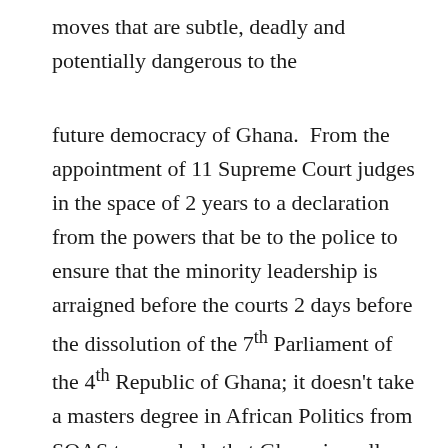moves that are subtle, deadly and potentially dangerous to the
future democracy of Ghana.  From the appointment of 11 Supreme Court judges in the space of 2 years to a declaration from the powers that be to the police to ensure that the minority leadership is arraigned before the courts 2 days before the dissolution of the 7th Parliament of the 4th Republic of Ghana; it doesn't take a masters degree in African Politics from SOAS to conclude that Ghana is well on its way for an explosive few years in terms of democracy.